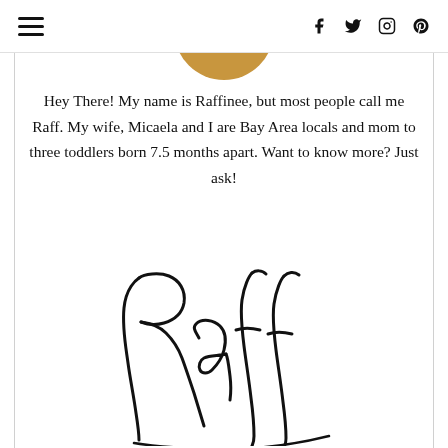≡  f  t  ◻  p
[Figure (illustration): Bottom portion of a circular avatar/profile image with warm brown/tan color, partially cropped at top]
Hey There! My name is Raffinee, but most people call me Raff. My wife, Micaela and I are Bay Area locals and mom to three toddlers born 7.5 months apart. Want to know more? Just ask!
[Figure (illustration): Handwritten cursive signature reading 'Raff' in large black script lettering]